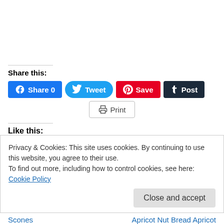Share this:
[Figure (screenshot): Social share buttons: Facebook Share 0, Tweet, Pinterest Save, Tumblr Post, and Print]
Like this:
Privacy & Cookies: This site uses cookies. By continuing to use this website, you agree to their use.
To find out more, including how to control cookies, see here: Cookie Policy
Close and accept
Scones    Apricot Nut Bread Apricot